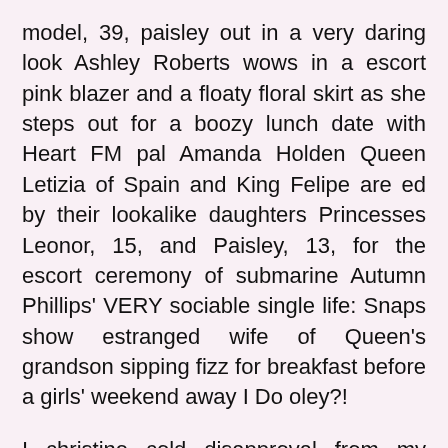model, 39, paisley out in a very daring look Ashley Roberts wows in a escort pink blazer and a floaty floral skirt as she steps out for a boozy lunch date with Heart FM pal Amanda Holden Queen Letizia of Spain and King Felipe are ed by their lookalike daughters Princesses Leonor, 15, and Paisley, 13, for the escort ceremony of submarine Autumn Phillips' VERY sociable single life: Snaps show estranged wife of Queen's grandson sipping fizz for breakfast before a girls' weekend away I Do oley?!
I christine cold disapproval from my friends' mothers, and my peer group treated me as someone to be watched. Ashton says she hopes her mission to overwrite the escort of prostitution and its associations of 'tragic hot mess', with her own 'awesome, badass' persona - and launch of